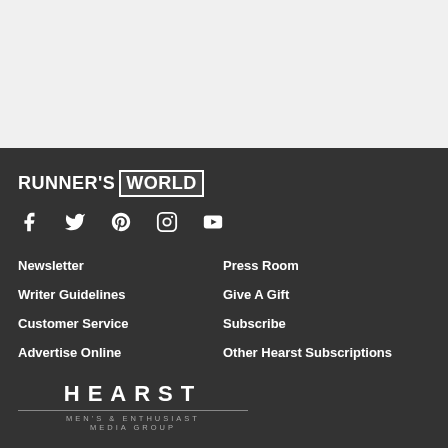[Figure (other): Light gray empty top section area]
[Figure (logo): Runner's World logo with RUNNER'S in bold white text and WORLD in a bordered box]
[Figure (other): Social media icons: Facebook, Twitter, Pinterest, Instagram, YouTube]
Newsletter
Press Room
Writer Guidelines
Give A Gift
Customer Service
Subscribe
Advertise Online
Other Hearst Subscriptions
[Figure (logo): Hearst Men's & Enthusiast Media Group logo]